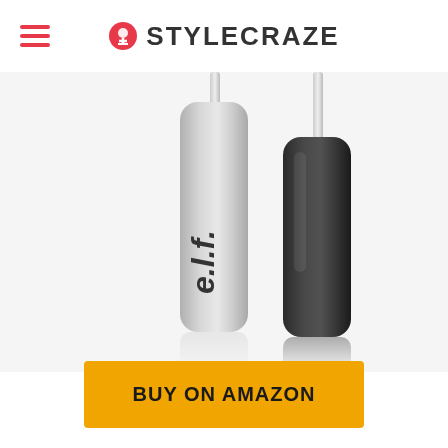STYLECRAZE
[Figure (photo): Two e.l.f. cosmetic mascara/lip gloss tubes - one silver/grey with 'e.l.f.' branding and one with black cap, photographed against white background with reflection]
BUY ON AMAZON